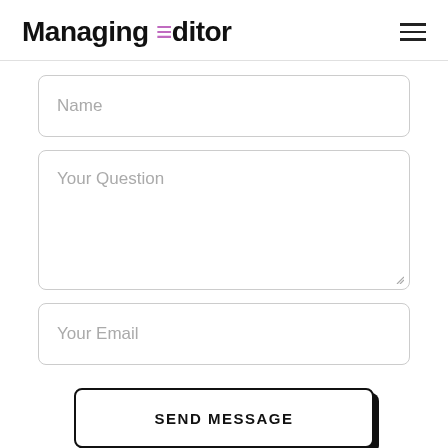Managing Editor
Name
Your Question
Your Email
SEND MESSAGE